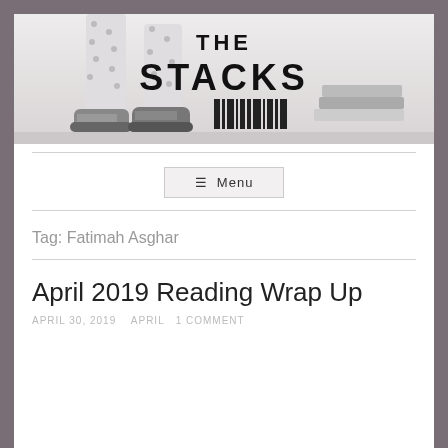[Figure (photo): The Stacks blog banner: shows legs in patterned pants wearing Converse sneakers with stacked books and a barcode graphic, overlaid with bold text 'THE STACKS']
≡  Menu
Tag: Fatimah Asghar
April 2019 Reading Wrap Up
APRIL 30, 2019   APRIL 1 COMMENT